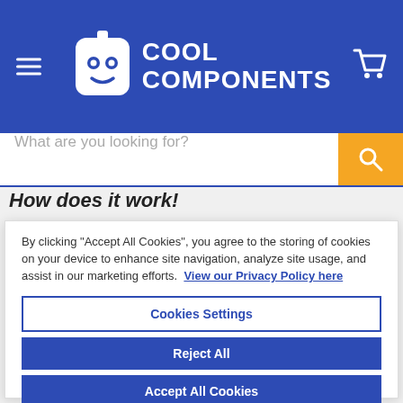[Figure (logo): Cool Components logo with robot face icon and blue header bar with hamburger menu and cart icon]
[Figure (screenshot): Search bar with placeholder text 'What are you looking for?' and orange search button]
How does it work!
By clicking "Accept All Cookies", you agree to the storing of cookies on your device to enhance site navigation, analyze site usage, and assist in our marketing efforts.  View our Privacy Policy here
Cookies Settings
Reject All
Accept All Cookies